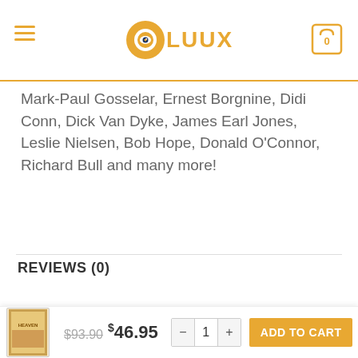OLUUX
Mark-Paul Gosselar, Ernest Borgnine, Didi Conn, Dick Van Dyke, James Earl Jones, Leslie Nielsen, Bob Hope, Donald O'Connor, Richard Bull and many more!
REVIEWS (0)
Reviews
$93.90  $46.95  -  1  +  ADD TO CART